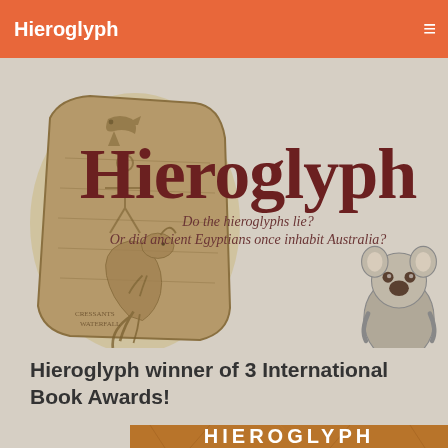Hieroglyph
[Figure (illustration): Hieroglyph book website banner showing carved stone tablet with kangaroo illustration on the left, large 'Hieroglyph' title text in dark red, subtitle 'Do the hieroglyphs lie? Or did ancient Egyptians once inhabit Australia?' and a small koala illustration on the right]
Hieroglyph winner of 3 International Book Awards!
[Figure (photo): Book cover of 'HIEROGLYPH' showing a textured brownish-orange cracked surface background with the title 'HIEROGLYPH' in large white letters and two award medal seals at the bottom]